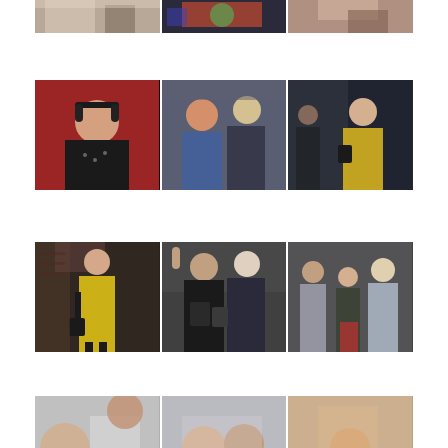[Figure (photo): Top row: three event photos partially visible at top of page - person in white, colorful patterned outfit, hand gesture]
[Figure (photo): Second row: three event photos - woman with headphones, two women socializing, woman in yellow coat]
[Figure (photo): Third row: three event photos - woman in yellow coat full body, two women with bags, group of women]
[Figure (photo): Bottom row (partially visible): three event photos - group of people at what appears to be indoor venue]